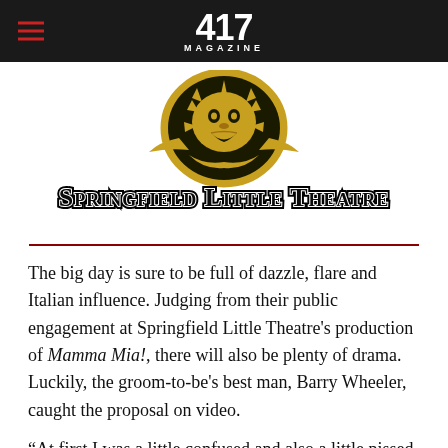417 MAGAZINE
[Figure (logo): Springfield Little Theatre logo — golden lion/gargoyle face above ornate text reading 'Springfield Little Theatre' in black serif with white outline]
The big day is sure to be full of dazzle, flare and Italian influence. Judging from their public engagement at Springfield Little Theatre's production of Mamma Mia!, there will also be plenty of drama. Luckily, the groom-to-be's best man, Barry Wheeler, caught the proposal on video.
“At first I was a little confused and also a little pissed